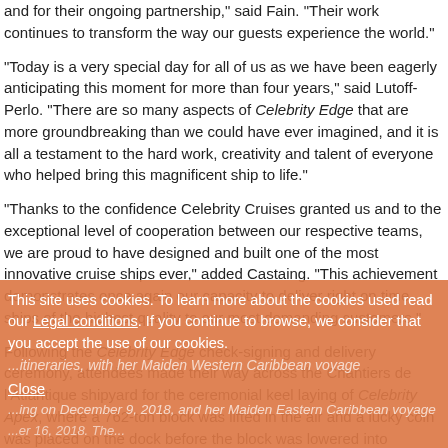and for their ongoing partnership," said Fain. "Their work continues to transform the way our guests experience the world."
"Today is a very special day for all of us as we have been eagerly anticipating this moment for more than four years," said Lutoff-Perlo. "There are so many aspects of Celebrity Edge that are more groundbreaking than we could have ever imagined, and it is all a testament to the hard work, creativity and talent of everyone who helped bring this magnificent ship to life."
"Thanks to the confidence Celebrity Cruises granted us and to the exceptional level of cooperation between our respective teams, we are proud to have designed and built one of the most innovative cruise ships ever," added Castaing. "This achievement demonstrates once again our capacity to deliver right on time ships of the highest quality to our most demanding customers."
Following the Celebrity Edge check-signing and delivery ceremony, attendees made their way across the Chantiers de l'Atlantique shipyard for the ceremonial keel laying of Celebrity Apex, where a 762-ton block was lifted in the air and a lucky coin was placed on the dock before the block was lowered into position.
On November 6, 2018, Celebrity Edge will begin her transatlantic voyage to her...
This site uses cookies. To learn more about the cookies used read our Legal conditions. If you continue to browse, we consider that you accept the use of our cookies.
Close